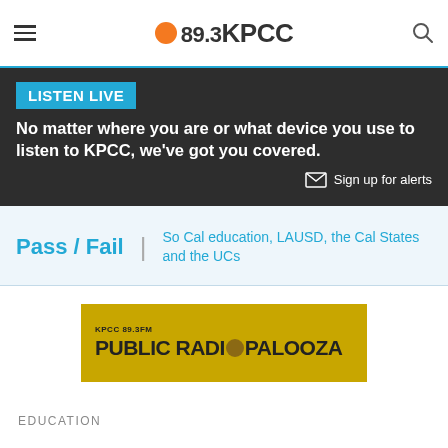89.3 KPCC
LISTEN LIVE
No matter where you are or what device you use to listen to KPCC, we've got you covered.
Sign up for alerts
Pass / Fail | So Cal education, LAUSD, the Cal States and the UCs
[Figure (logo): KPCC 89.3FM Public Radio Palooza banner on golden yellow background]
EDUCATION